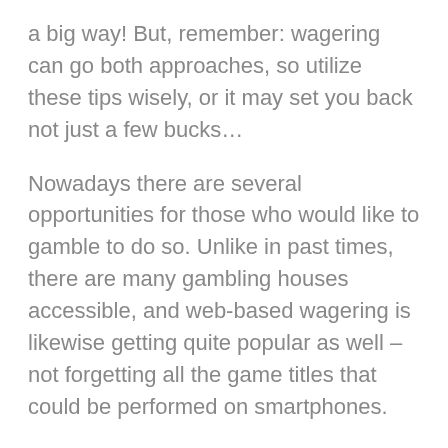a big way! But, remember: wagering can go both approaches, so utilize these tips wisely, or it may set you back not just a few bucks…
Nowadays there are several opportunities for those who would like to gamble to do so. Unlike in past times, there are many gambling houses accessible, and web-based wagering is likewise getting quite popular as well – not forgetting all the game titles that could be performed on smartphones.
Verdict:
It really is never smart to risk should you not possess dollars accessible simply because that can lead to some main difficulties in regards time for retirement life or any other large moments.